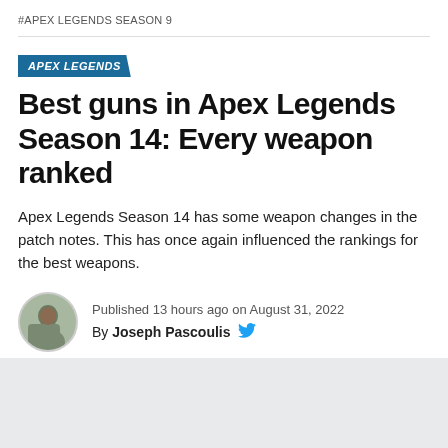#APEX LEGENDS SEASON 9
APEX LEGENDS
Best guns in Apex Legends Season 14: Every weapon ranked
Apex Legends Season 14 has some weapon changes in the patch notes. This has once again influenced the rankings for the best weapons.
Published 13 hours ago on August 31, 2022
By Joseph Pascoulis